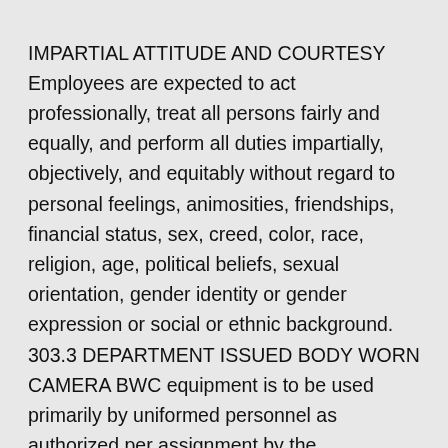IMPARTIAL ATTITUDE AND COURTESY Employees are expected to act professionally, treat all persons fairly and equally, and perform all duties impartially, objectively, and equitably without regard to personal feelings, animosities, friendships, financial status, sex, creed, color, race, religion, age, political beliefs, sexual orientation, gender identity or gender expression or social or ethnic background. 303.3 DEPARTMENT ISSUED BODY WORN CAMERA BWC equipment is to be used primarily by uniformed personnel as authorized per assignment by the Department and must be used unless otherwise authorized by a Commander or above. The City of Austin is committed to compliance with the American Disabilities Act. Reasonable modifications and equal access to communications will be provided